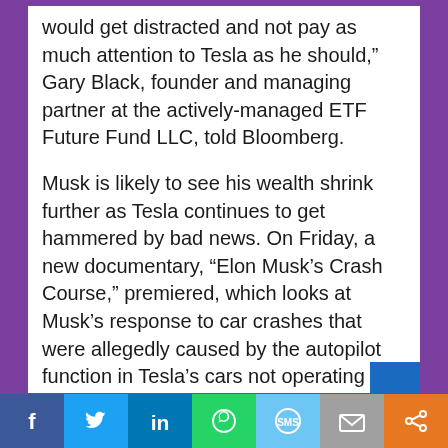would get distracted and not pay as much attention to Tesla as he should," Gary Black, founder and managing partner at the actively-managed ETF Future Fund LLC, told Bloomberg.
Musk is likely to see his wealth shrink further as Tesla continues to get hammered by bad news. On Friday, a new documentary, "Elon Musk's Crash Course," premiered, which looks at Musk's response to car crashes that were allegedly caused by the autopilot function in Tesla's cars not operating correctly.
On the same day, Musk said on Twitter, without referring to Insider's story or the documentary,